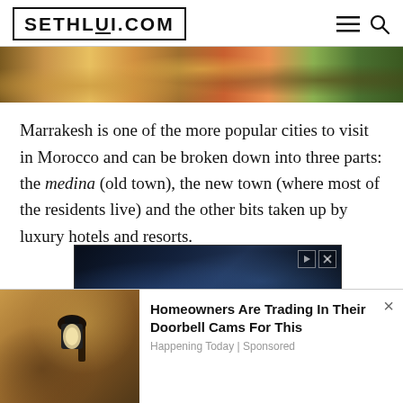SETHLUI.COM
[Figure (photo): Aerial or overhead view of a colorful Moroccan market with goods spread on the ground]
Marrakesh is one of the more popular cities to visit in Morocco and can be broken down into three parts: the medina (old town), the new town (where most of the residents live) and the other bits taken up by luxury hotels and resorts.
[Figure (photo): Advertisement showing two men looking at a glowing digital display screen in a dark setting]
[Figure (photo): Pop-up advertisement showing a lamp on a stone wall with text: Homeowners Are Trading In Their Doorbell Cams For This. Happening Today | Sponsored]